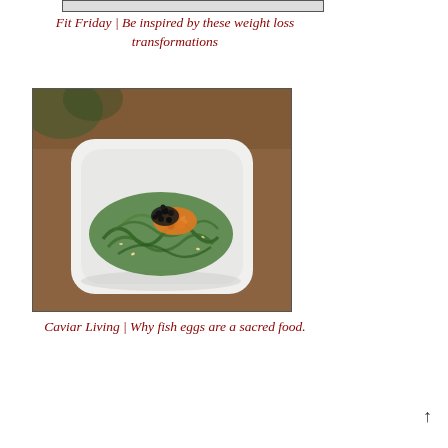[Figure (photo): Top cropped image placeholder box (partial image of bowl with green background)]
Fit Friday | Be inspired by these weight loss transformations
[Figure (photo): Photo of a white square bowl containing green seaweed salad topped with black caviar and orange fish roe, on a wooden background]
Caviar Living | Why fish eggs are a sacred food.